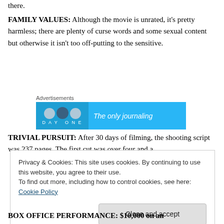there.
FAMILY VALUES: Although the movie is unrated, it's pretty harmless; there are plenty of curse words and some sexual content but otherwise it isn't too off-putting to the sensitive.
[Figure (other): Advertisement banner for Day One journaling app with blue background showing circular icons and text 'The only journaling']
TRIVIAL PURSUIT: After 30 days of filming, the shooting script was 237 pages. The first cut was over four and a
Privacy & Cookies: This site uses cookies. By continuing to use this website, you agree to their use.
To find out more, including how to control cookies, see here: Cookie Policy
BOX OFFICE PERFORMANCE: $10,000 on an